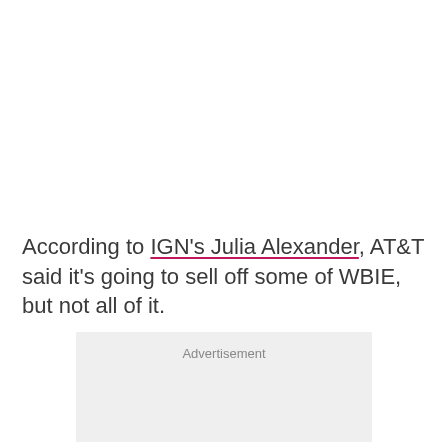According to IGN's Julia Alexander, AT&T said it's going to sell off some of WBIE, but not all of it.
Advertisement